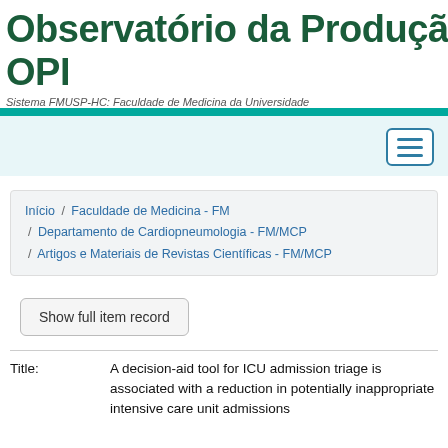Observatório da Produção I OPI
Sistema FMUSP-HC: Faculdade de Medicina da Universidade
Início / Faculdade de Medicina - FM / Departamento de Cardiopneumologia - FM/MCP / Artigos e Materiais de Revistas Científicas - FM/MCP
Show full item record
| Field | Value |
| --- | --- |
| Title: | A decision-aid tool for ICU admission triage is associated with a reduction in potentially inappropriate intensive care unit admissions |